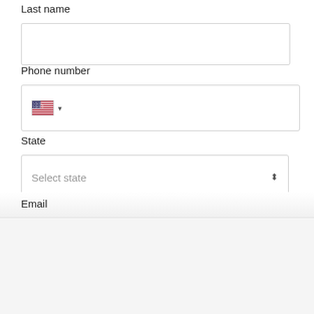Last name
[Figure (screenshot): Empty text input box for last name field]
Phone number
[Figure (screenshot): Phone number input box with US flag and dropdown arrow]
State
[Figure (screenshot): State dropdown selector showing 'Select state' placeholder with up/down arrows]
Email
This website uses cookies, small amounts of data from the server, stored on your device. This helps us improve our services and to deliver a better, more personalised service.
Preferences
Statistics
Marketing